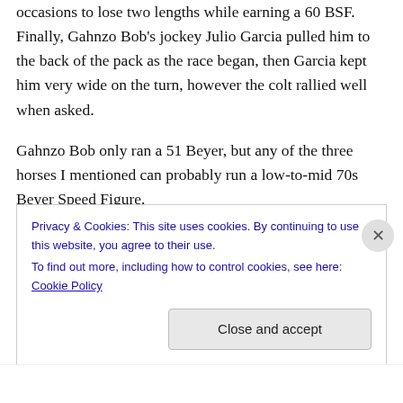occasions to lose two lengths while earning a 60 BSF. Finally, Gahnzo Bob's jockey Julio Garcia pulled him to the back of the pack as the race began, then Garcia kept him very wide on the turn, however the colt rallied well when asked.
Gahnzo Bob only ran a 51 Beyer, but any of the three horses I mentioned can probably run a low-to-mid 70s Beyer Speed Figure.
Some of these 2-year-old maiden special weight races come up extremely strong, while others are very
Privacy & Cookies: This site uses cookies. By continuing to use this website, you agree to their use.
To find out more, including how to control cookies, see here: Cookie Policy